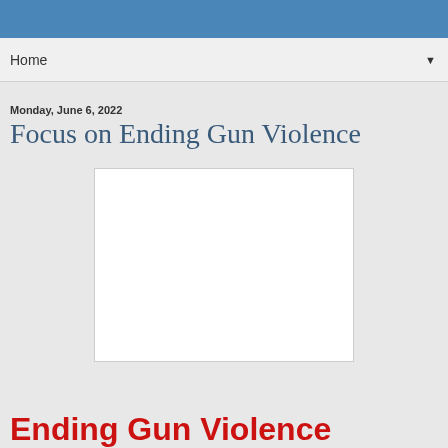Home
Monday, June 6, 2022
Focus on Ending Gun Violence
[Figure (photo): White blank image placeholder]
Ending Gun Violence